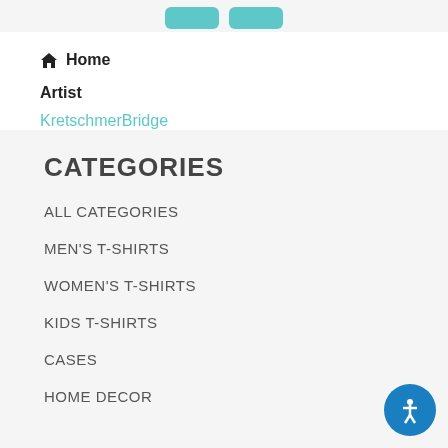[Figure (screenshot): Two teal/cyan colored buttons at the top of the page]
Home
Artist
KretschmerBridge
CATEGORIES
ALL CATEGORIES
MEN'S T-SHIRTS
WOMEN'S T-SHIRTS
KIDS T-SHIRTS
CASES
HOME DECOR
[Figure (illustration): Accessibility icon button - blue circle with person/human figure symbol]